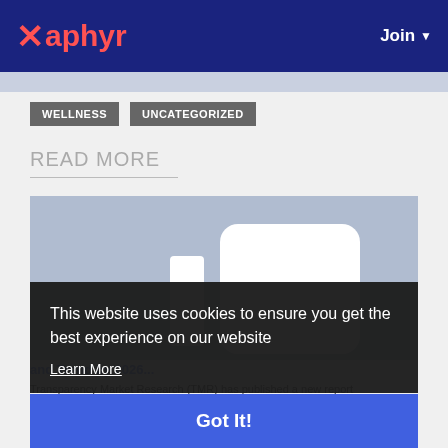Xaphyr   Join
WELLNESS
UNCATEGORIZED
READ MORE
[Figure (illustration): Placeholder image with light blue-grey background and white rounded rectangle shapes suggesting a bar chart or app interface]
This website uses cookies to ensure you get the best experience on our website
Learn More
Got It!
and Trend by 2026...
Transparency Market Research (TMR) has published a new report